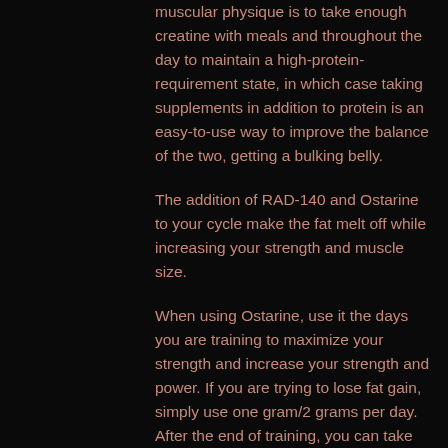muscular physique is to take enough creatine with meals and throughout the day to maintain a high-protein-requirement state, in which case taking supplements in addition to protein is an easy-to-use way to improve the balance of the two, getting a bulking belly.
The addition of RAD-140 and Ostarine to your cycle make the fat melt off while increasing your strength and muscle size.
When using Ostarine, use it the days you are training to maximize your strength and increase your strength and power. If you are trying to lose fat gain, simply use one gram/2 grams per day. After the end of training, you can take your intake up to its maximum.
Once you use RAD-140 and Ostarine, try different cycles that involve the fat loss and